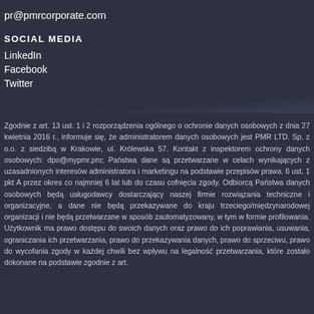pr@pmrcorporate.com
SOCIAL MEDIA
LinkedIn
Facebook
Twitter
Zgodnie z art. 13 ust. 1 i 2 rozporządzenia ogólnego o ochronie danych osobowych z dnia 27 kwietnia 2016 r., informuje się, że administratorem danych osobowych jest PMR LTD. Sp. z o.o. z siedzibą w Krakowie, ul. Królewska 57. Kontakt z inspektorem ochrony danych osobowych: dpo@mypmr.pro; Państwa dane są przetwarzane w celach wynikających z uzasadnionych interesów administratora i marketingu na podstawie przepisów prawa. 6 ust. 1 pkt A przez okres co najmniej 6 lat lub do czasu cofnięcia zgody. Odbiorcą Państwa danych osobowych będą usługodawcy dostarczający naszej firmie rozwiązania techniczne i organizacyjne, a dane nie będą przekazywane do kraju trzeciego/międzynarodowej organizacji i nie będą przetwarzane w sposób zautomatyzowany, w tym w formie profilowania. Użytkownik ma prawo dostępu do swoich danych oraz prawo do ich poprawiania, usuwania, ograniczania ich przetwarzania, prawo do przekazywania danych, prawo do sprzeciwu, prawo do wycofania zgody w każdej chwili bez wpływu na legalność przetwarzania, które zostało dokonane na podstawie zgodnie z art.